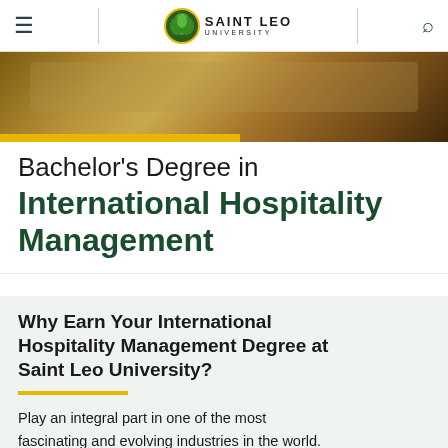Saint Leo University
[Figure (photo): Hero image of a university library or campus interior with warm tones]
Bachelor's Degree in International Hospitality Management
Why Earn Your International Hospitality Management Degree at Saint Leo University?
Play an integral part in one of the most fascinating and evolving industries in the world. With a degree in international hospitality